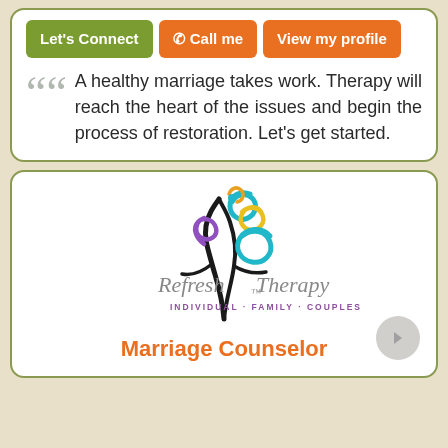Let's Connect | Call me | View my profile
A healthy marriage takes work. Therapy will reach the heart of the issues and begin the process of restoration. Let's get started.
[Figure (logo): Refresh Therapy logo with colorful swirling tree branches in teal, yellow, purple, and orange. Text reads 'Refresh Therapy' with tagline 'INDIVIDUAL · FAMILY · COUPLES']
Marriage Counselor